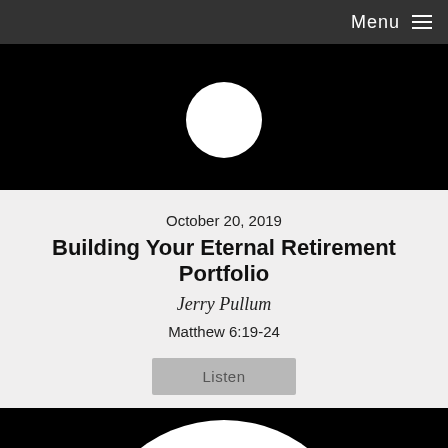Menu ≡
[Figure (screenshot): Black banner image with partial white circular play button icon visible at top center]
October 20, 2019
Building Your Eternal Retirement Portfolio
Jerry Pullum
Matthew 6:19-24
Listen
[Figure (screenshot): Black video thumbnail with white circle containing a playlist/video icon with a play button rectangle and stacked lines above it]